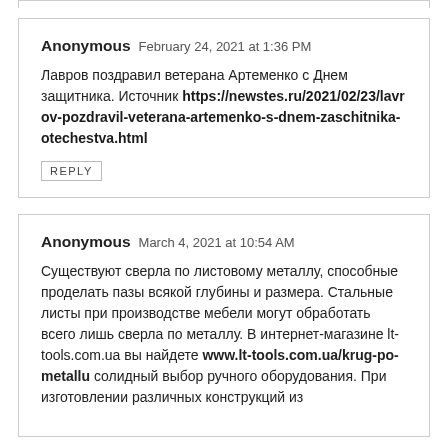Anonymous  February 24, 2021 at 1:36 PM

Лавров поздравил ветерана Артеменко с Днем защитника. Источник https://newstes.ru/2021/02/23/lavrov-pozdravil-veterana-artemenko-s-dnem-zaschitnika-otechestva.html

REPLY
Anonymous  March 4, 2021 at 10:54 AM

Существуют сверла по листовому металлу, способные проделать пазы всякой глубины и размера. Стальные листы при производстве мебели могут обработать всего лишь сверла по металлу. В интернет-магазине lt-tools.com.ua вы найдете www.lt-tools.com.ua/krug-po-metallu солидный выбор ручного оборудования. При изготовлении различных конструкций из